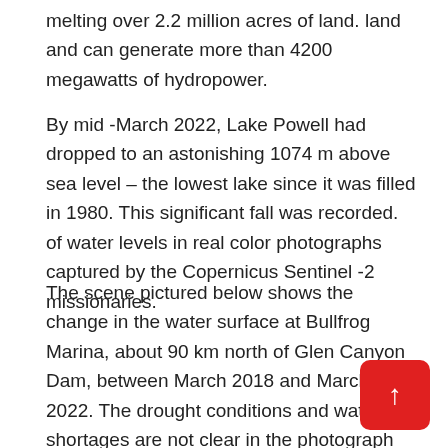melting over 2.2 million acres of land. land and can generate more than 4200 megawatts of hydropower.
By mid -March 2022, Lake Powell had dropped to an astonishing 1074 m above sea level – the lowest lake since it was filled in 1980. This significant fall was recorded. of water levels in real color photographs captured by the Copernicus Sentinel -2 missionaries.
The scene pictured below shows the change in the water surface at Bullfrog Marina, about 90 km north of Glen Canyon Dam, between March 2018 and March 2022. The drought conditions and water shortages are not clear in the photograph taken on 18 March 2022, compared. at the beach 2018 shown in the photo yellow.